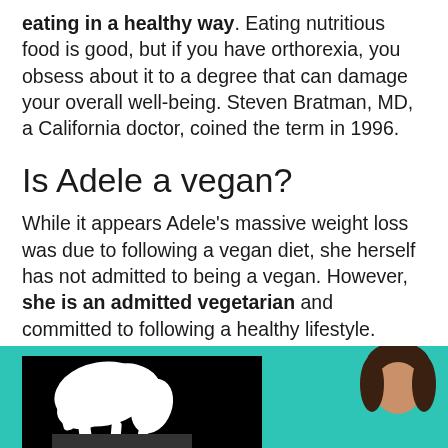eating in a healthy way. Eating nutritious food is good, but if you have orthorexia, you obsess about it to a degree that can damage your overall well-being. Steven Bratman, MD, a California doctor, coined the term in 1996.
Is Adele a vegan?
While it appears Adele's massive weight loss was due to following a vegan diet, she herself has not admitted to being a vegan. However, she is an admitted vegetarian and committed to following a healthy lifestyle.
[Figure (photo): Photo area with teal/turquoise background showing partial image of a person with dark hair on the right side, and a black and white image of white shapes on the left side.]